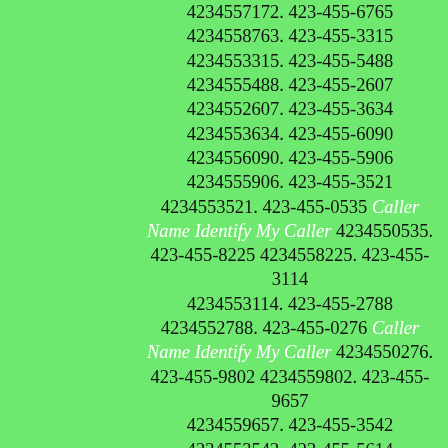4234557172. 423-455-6765 4234558763. 423-455-3315 4234553315. 423-455-5488 4234555488. 423-455-2607 4234552607. 423-455-3634 4234553634. 423-455-6090 4234556090. 423-455-5906 4234555906. 423-455-3521 4234553521. 423-455-0535 Caller Name Identify My Caller 4234550535. 423-455-8225 4234558225. 423-455-3114 4234553114. 423-455-2788 4234552788. 423-455-0276 Caller Name Identify My Caller 4234550276. 423-455-9802 4234559802. 423-455-9657 4234559657. 423-455-3542 4234553542. 423-455-5614 4234555614. 423-455-7246 4234557246. 423-455-5494 4234555494. 423-455-1911 4234551911. 423-455-6010 4234556010. 423-455-0682 Caller Name Identify My Caller 4234550682. 423-455-2391 4234552391. 423-455-3831 4234553831. 423-455-6395 4234556395. 423-455-8426